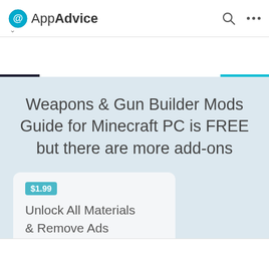AppAdvice
[Figure (screenshot): App banner showing a game app icon for 'Weapons & Gun Builder Mods Guide fo...' with a FREE > button in teal]
Weapons & Gun Builder Mods Guide for Minecraft PC is FREE but there are more add-ons
$1.99 Unlock All Materials & Remove Ads